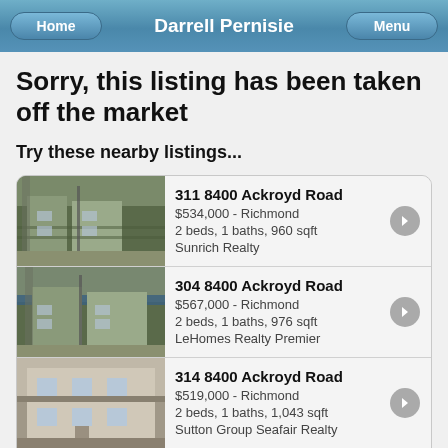Home | Darrell Pernisie | Menu
Sorry, this listing has been taken off the market
Try these nearby listings...
311 8400 Ackroyd Road
$534,000 - Richmond
2 beds, 1 baths, 960 sqft
Sunrich Realty
304 8400 Ackroyd Road
$567,000 - Richmond
2 beds, 1 baths, 976 sqft
LeHomes Realty Premier
314 8400 Ackroyd Road
$519,000 - Richmond
2 beds, 1 baths, 1,043 sqft
Sutton Group Seafair Realty